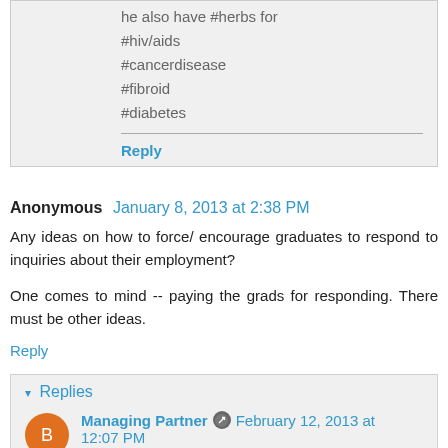he also have #herbs for #hiv/aids #cancerdisease #fibroid #diabetes
Reply
Anonymous  January 8, 2013 at 2:38 PM
Any ideas on how to force/ encourage graduates to respond to inquiries about their employment?
One comes to mind -- paying the grads for responding. There must be other ideas.
Reply
Replies
Managing Partner  February 12, 2013 at 12:07 PM